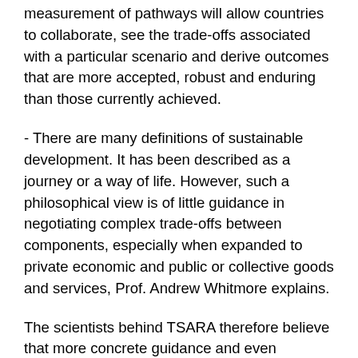measurement of pathways will allow countries to collaborate, see the trade-offs associated with a particular scenario and derive outcomes that are more accepted, robust and enduring than those currently achieved.
- There are many definitions of sustainable development. It has been described as a journey or a way of life. However, such a philosophical view is of little guidance in negotiating complex trade-offs between components, especially when expanded to private economic and public or collective goods and services, Prof. Andrew Whitmore explains.
The scientists behind TSARA therefore believe that more concrete guidance and even regulation is required.